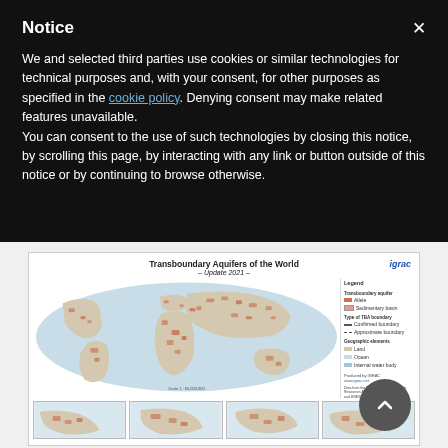Notice
We and selected third parties use cookies or similar technologies for technical purposes and, with your consent, for other purposes as specified in the cookie policy. Denying consent may make related features unavailable.
You can consent to the use of such technologies by closing this notice, by scrolling this page, by interacting with any link or button outside of this notice or by continuing to browse otherwise.
[Figure (map): Transboundary Aquifers of the World – Update 2021 – world map showing transboundary aquifer locations in orange/red tones on a light blue ocean background, with legend panel on the right side and IGRAC logo. Below the main map are four smaller regional thumbnail maps.]